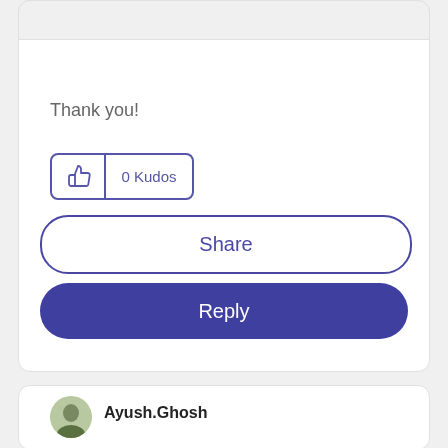Thank you!
[Figure (other): Kudos button with thumbs up icon and '0 Kudos' label]
[Figure (other): Share button (rounded pill, outline style)]
[Figure (other): Reply button (rounded pill, filled purple)]
Ayush.Ghosh